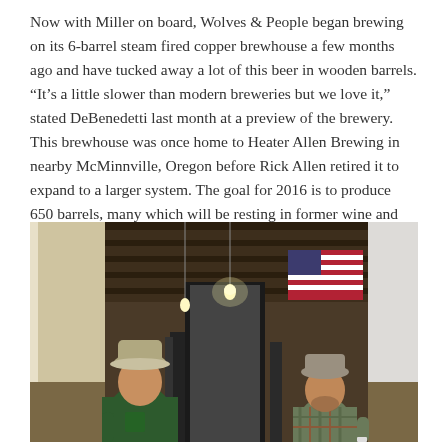Now with Miller on board, Wolves & People began brewing on its 6-barrel steam fired copper brewhouse a few months ago and have tucked away a lot of this beer in wooden barrels. “It’s a little slower than modern breweries but we love it,” stated DeBenedetti last month at a preview of the brewery. This brewhouse was once home to Heater Allen Brewing in nearby McMinnville, Oregon before Rick Allen retired it to expand to a larger system. The goal for 2016 is to produce 650 barrels, many which will be resting in former wine and spirits beers to take on new complexities.
[Figure (photo): Interior photo of a brewery space showing two men standing inside. One man on the left is wearing a green shirt and a cap. Another man on the right is wearing a plaid shirt and a cap. An American flag is visible on the back wall, and there is a light hanging from the dark wooden ceiling.]